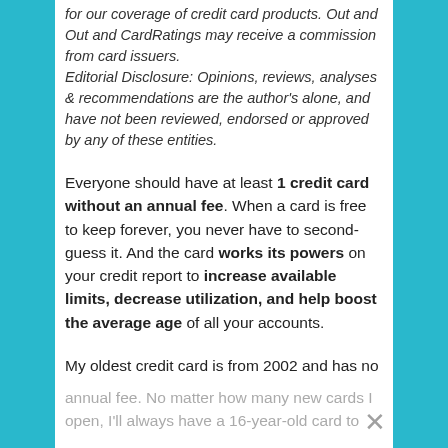for our coverage of credit card products. Out and Out and CardRatings may receive a commission from card issuers. Editorial Disclosure: Opinions, reviews, analyses & recommendations are the author's alone, and have not been reviewed, endorsed or approved by any of these entities.
Everyone should have at least 1 credit card without an annual fee. When a card is free to keep forever, you never have to second-guess it. And the card works its powers on your credit report to increase available limits, decrease utilization, and help boost the average age of all your accounts.
My oldest credit card is from 2002 and has no annual fee. No matter how many new cards I open, I'll always have a 16-year-old card to